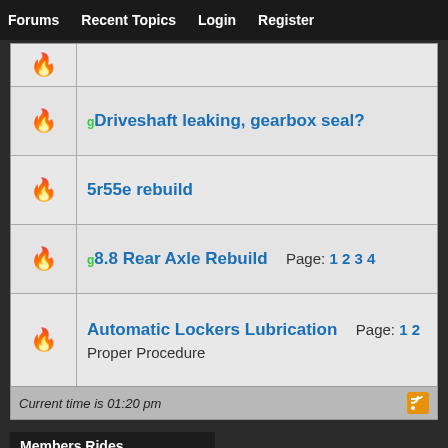Forums  Recent Topics  Login  Register
[icon] Driveshaft leaking, gearbox seal?
[icon] 5r55e rebuild
[icon] 8.8 Rear Axle Rebuild  Page: 1 2 3 4
[icon] Automatic Lockers Lubrication  Page: 1 2  Proper Procedure
Current time is 01:20 pm
Members Rides
[Figure (photo): Photo of a pickup truck in outdoor/field setting]